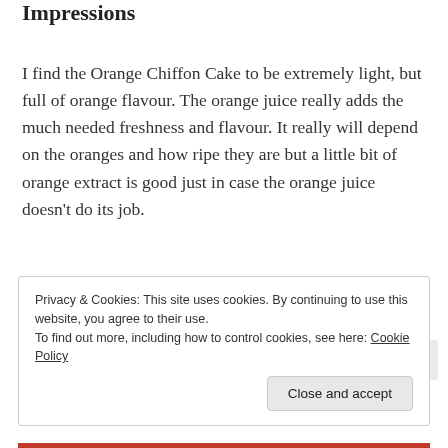Impressions
I find the Orange Chiffon Cake to be extremely light, but full of orange flavour. The orange juice really adds the much needed freshness and flavour. It really will depend on the oranges and how ripe they are but a little bit of orange extract is good just in case the orange juice doesn't do its job.
Privacy & Cookies: This site uses cookies. By continuing to use this website, you agree to their use.
To find out more, including how to control cookies, see here: Cookie Policy
Close and accept